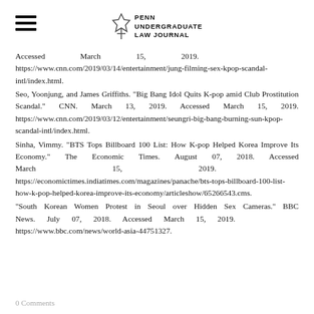Penn Undergraduate Law Journal
Accessed March 15, 2019. https://www.cnn.com/2019/03/14/entertainment/jung-filming-sex-kpop-scandal-intl/index.html.
Seo, Yoonjung, and James Griffiths. "Big Bang Idol Quits K-pop amid Club Prostitution Scandal." CNN. March 13, 2019. Accessed March 15, 2019. https://www.cnn.com/2019/03/12/entertainment/seungri-big-bang-burning-sun-kpop-scandal-intl/index.html.
Sinha, Vimmy. "BTS Tops Billboard 100 List: How K-pop Helped Korea Improve Its Economy." The Economic Times. August 07, 2018. Accessed March 15, 2019. https://economictimes.indiatimes.com/magazines/panache/bts-tops-billboard-100-list-how-k-pop-helped-korea-improve-its-economy/articleshow/65266543.cms.
"South Korean Women Protest in Seoul over Hidden Sex Cameras." BBC News. July 07, 2018. Accessed March 15, 2019. https://www.bbc.com/news/world-asia-44751327.
0 Comments